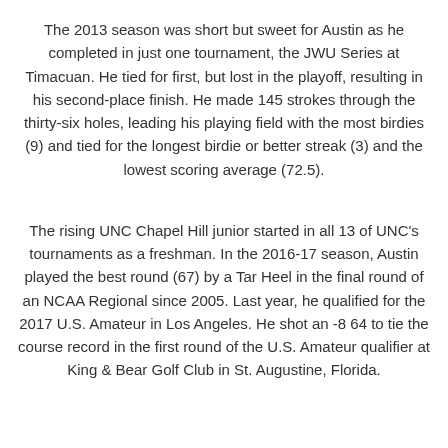The 2013 season was short but sweet for Austin as he completed in just one tournament, the JWU Series at Timacuan. He tied for first, but lost in the playoff, resulting in his second-place finish. He made 145 strokes through the thirty-six holes, leading his playing field with the most birdies (9) and tied for the longest birdie or better streak (3) and the lowest scoring average (72.5).
The rising UNC Chapel Hill junior started in all 13 of UNC's tournaments as a freshman. In the 2016-17 season, Austin played the best round (67) by a Tar Heel in the final round of an NCAA Regional since 2005. Last year, he qualified for the 2017 U.S. Amateur in Los Angeles. He shot an -8 64 to tie the course record in the first round of the U.S. Amateur qualifier at King & Bear Golf Club in St. Augustine, Florida.